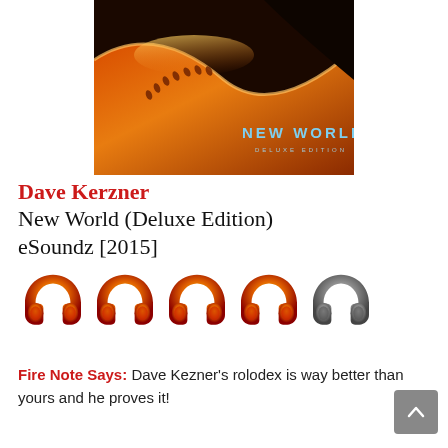[Figure (photo): Album art for Dave Kerzner's 'New World Deluxe Edition' — a desert sand dune scene with footprints, orange and black tones, with text 'NEW WORLD DELUXE EDITION' overlaid at bottom right.]
Dave Kerzner
New World (Deluxe Edition)
eSoundz [2015]
[Figure (illustration): Rating shown as 4.5 out of 5 headphone icons: four colored (orange/red gradient) headphones and one grey headphone.]
Fire Note Says: Dave Kezner's rolodex is way better than yours and he proves it!